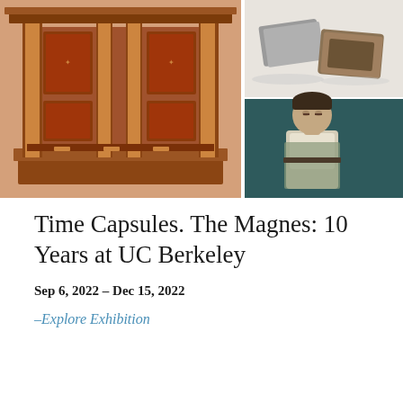[Figure (photo): Three artwork images: left large image showing an ornate wooden cabinet with carved decorative panels and columns; top right image showing gray flat objects (stones or clay tablets) on a white surface; bottom right image showing a painted portrait of a young man seated, wearing a white t-shirt and apron, dark background.]
Time Capsules. The Magnes: 10 Years at UC Berkeley
Sep 6, 2022 – Dec 15, 2022
–Explore Exhibition